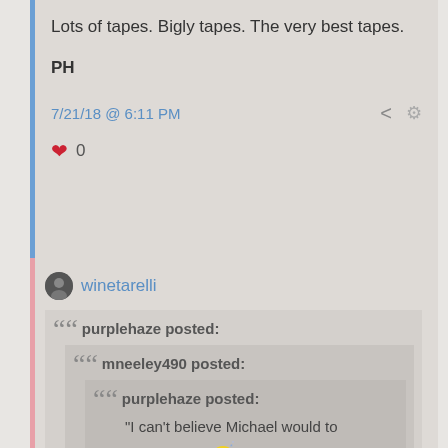Lots of tapes.  Bigly tapes.  The very best tapes.
PH
7/21/18 @ 6:11 PM
0
winetarelli
purplehaze posted:
mneeley490 posted:
purplehaze posted:
"I can't believe Michael would to this to me."